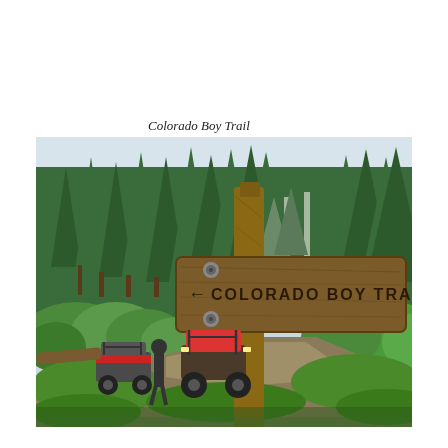Colorado Boy Trail
[Figure (photo): Outdoor trail scene showing a wooden trail sign reading 'COLORADO BOY TRAIL' with an arrow, mounted on a post in the foreground. In the background, two off-road vehicles (UTVs/side-by-sides) and a person standing on a dirt trail surrounded by dense green conifer forest and lush green shrubs.]